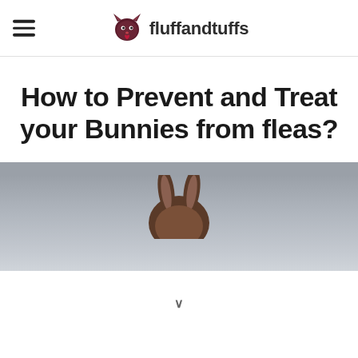fluffandtuffs
How to Prevent and Treat your Bunnies from fleas?
[Figure (photo): A bunny rabbit photographed against a grey background, partially visible at the bottom of the page]